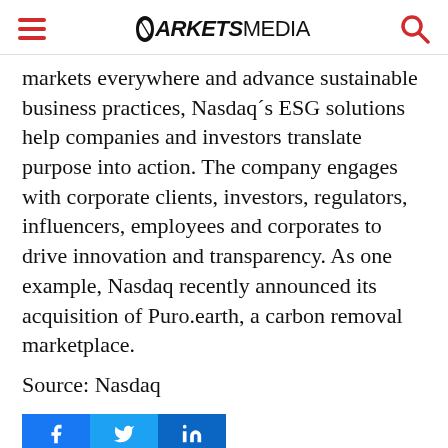MARKETS MEDIA
markets everywhere and advance sustainable business practices, Nasdaq´s ESG solutions help companies and investors translate purpose into action. The company engages with corporate clients, investors, regulators, influencers, employees and corporates to drive innovation and transparency. As one example, Nasdaq recently announced its acquisition of Puro.earth, a carbon removal marketplace.
Source: Nasdaq
[Figure (other): Social sharing buttons for Facebook, Twitter, and LinkedIn]